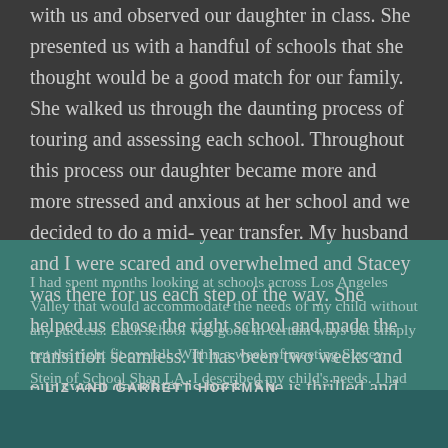with us and observed our daughter in class. She presented us with a handful of schools that she thought would be a good match for our family. She walked us through the daunting process of touring and assessing each school. Throughout this process our daughter became more and more stressed and anxious at her school and we decided to do a mid-year transfer. My husband and I were scared and overwhelmed and Stacey was there for us each step of the way. She helped us chose the right school and made the transition seamless. It has been two weeks and our sweet daughter is back. She is thrilled and we are too.
I had spent months looking at schools across Los Angeles Valley that would accommodate the needs of my child without any success. Each school was good in certain ways but simply not the right fit overall. Within a week of meeting Stacey, Stein of School Shan LA, I described my child's needs. I had appointments to look at 3 acceptable schools, and within a couple of weeks we had found the most suitable school I could have ever imagined. Having a child in an appropriate school has been life changing for our family and I readily praise Stacey in helping
~ LIZ AND GARRETT HOFFMAN